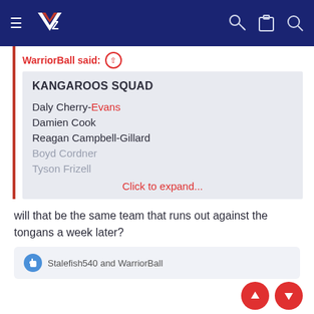[Figure (screenshot): Navigation bar with NZ Warriors logo, hamburger menu, key icon, clipboard icon, and search icon on dark navy background]
WarriorBall said: ↑
KANGAROOS SQUAD

Daly Cherry-Evans
Damien Cook
Reagan Campbell-Gillard
Boyd Cordner
Tyson Frizell

Click to expand...
will that be the same team that runs out against the tongans a week later?
Stalefish540 and WarriorBall
Reply